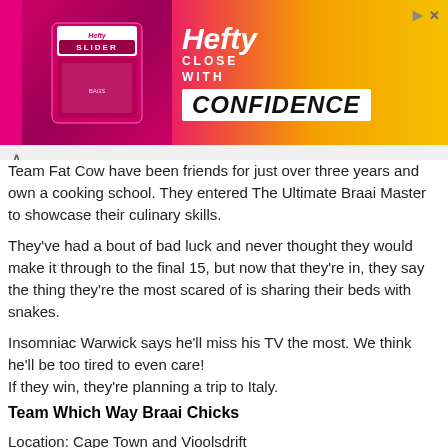[Figure (illustration): Hefty Slider Bags advertisement banner. Pink/magenta to yellow/orange gradient background. Left side shows Hefty Slider Bags product packaging. Right side shows 'Hefty' logo in italic white text, 'CLOSE WITH' in white caps, and 'CONFIDENCE' in large black italic text on white background. Top-right corner has a play arrow icon and X close button.]
Team Fat Cow have been friends for just over three years and own a cooking school. They entered The Ultimate Braai Master to showcase their culinary skills.
They've had a bout of bad luck and never thought they would make it through to the final 15, but now that they're in, they say the thing they're the most scared of is sharing their beds with snakes.
Insomniac Warwick says he'll miss his TV the most. We think he'll be too tired to even care!
If they win, they're planning a trip to Italy.
Team Which Way Braai Chicks
Location: Cape Town and Vioolsdrift
Braai Master: JanieB Smit
Braai Buddy: Maudie Bleach
Relationship: Friends
Team Mantra: It's all about the relax speech...